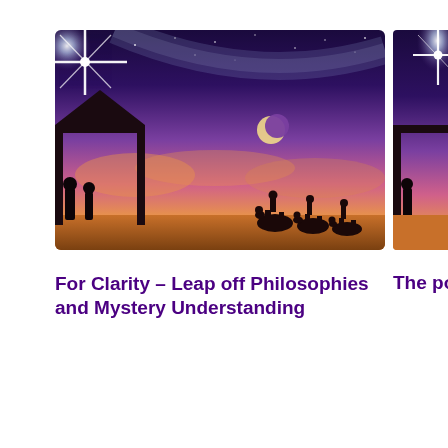[Figure (photo): Night sky nativity scene with bright star, milky way, crescent moon, silhouettes of wise men on camels and a structure, orange and purple twilight sky]
For Clarity – Leap off Philosophies and Mystery Understanding
[Figure (photo): Partial view of same nativity night sky scene with bright star, silhouettes of structure and figures]
The po